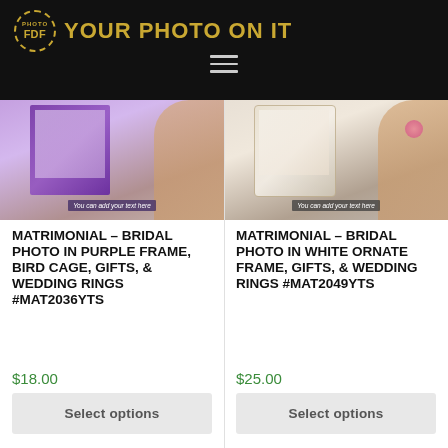YOUR PHOTO ON IT
[Figure (photo): Product image: Matrimonial bridal photo in purple frame with bird cage, gifts, and wedding rings on a t-shirt]
[Figure (photo): Product image: Matrimonial bridal photo in white ornate frame with gifts and wedding rings on a t-shirt]
MATRIMONIAL – BRIDAL PHOTO IN PURPLE FRAME, BIRD CAGE, GIFTS, & WEDDING RINGS #MAT2036YTS
$18.00
MATRIMONIAL – BRIDAL PHOTO IN WHITE ORNATE FRAME, GIFTS, & WEDDING RINGS #MAT2049YTS
$25.00
Select options
Select options